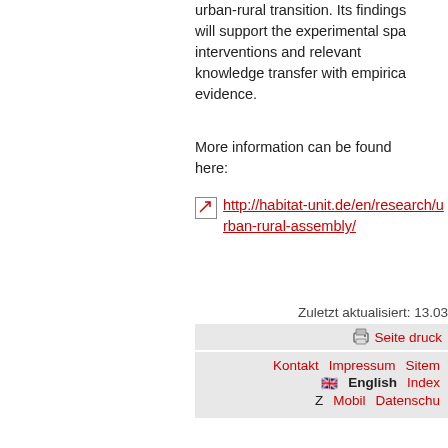urban-rural transition. Its findings will support the experimental spa interventions and relevant knowledge transfer with empirica evidence.
More information can be found here:
http://habitat-unit.de/en/research/urban-rural-assembly/
Zuletzt aktualisiert: 13.03
Seite druck
Kontakt   Impressum   Sitem
English   Index
Z   Mobil   Datenschu